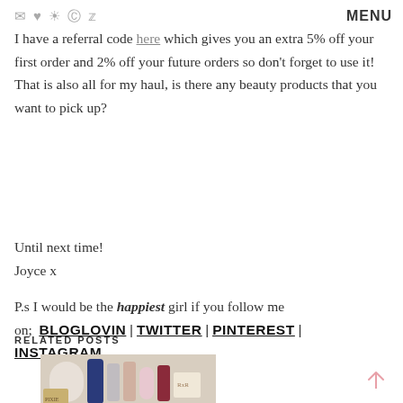[icons: email, heart, instagram, pinterest, twitter] MENU
I have a referral code here which gives you an extra 5% off your first order and 2% off your future orders so don't forget to use it! That is also all for my haul, is there any beauty products that you want to pick up?
Until next time!
Joyce x
P.s I would be the happiest girl if you follow me on; BLOGLOVIN | TWITTER | PINTEREST | INSTAGRAM
RELATED POSTS
[Figure (photo): Photo of beauty/skincare products including bottles and containers arranged on a surface]